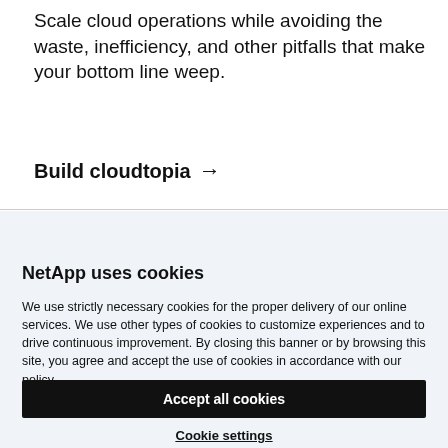Scale cloud operations while avoiding the waste, inefficiency, and other pitfalls that make your bottom line weep.
Build cloudtopia →
×
NetApp uses cookies
We use strictly necessary cookies for the proper delivery of our online services. We use other types of cookies to customize experiences and to drive continuous improvement. By closing this banner or by browsing this site, you agree and accept the use of cookies in accordance with our policy.
Accept all cookies
Cookie settings